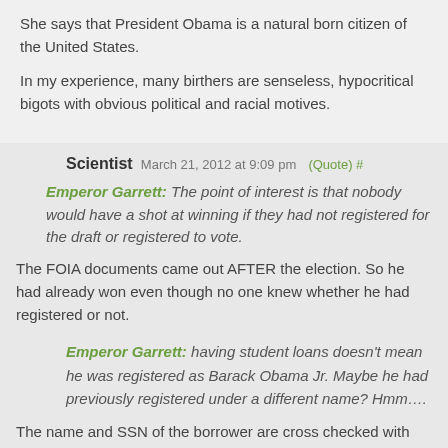She says that President Obama is a natural born citizen of the United States.
In my experience, many birthers are senseless, hypocritical bigots with obvious political and racial motives.
Scientist March 21, 2012 at 9:09 pm (Quote) #
Emperor Garrett: The point of interest is that nobody would have a shot at winning if they had not registered for the draft or registered to vote.
The FOIA documents came out AFTER the election. So he had already won even though no one knew whether he had registered or not.
Emperor Garrett: having student loans doesn't mean he was registered as Barack Obama Jr. Maybe he had previously registered under a different name? Hmm….
The name and SSN of the borrower are cross checked with the name and SSN of the draft registration.